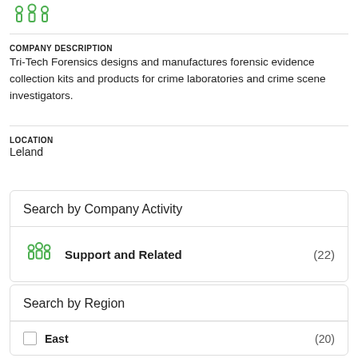[Figure (logo): Green Tri-Tech Forensics logo with three shield/person icons]
COMPANY DESCRIPTION
Tri-Tech Forensics designs and manufactures forensic evidence collection kits and products for crime laboratories and crime scene investigators.
LOCATION
Leland
Search by Company Activity
[Figure (illustration): Green people/group icon next to Support and Related (22)]
Search by Region
East (20)